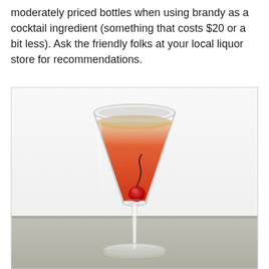moderately priced bottles when using brandy as a cocktail ingredient (something that costs $20 or a bit less). Ask the friendly folks at your local liquor store for recommendations.
[Figure (photo): A martini glass filled with a red-orange cocktail and a cherry garnish, photographed against a light gray/white background with a gray surface at the bottom.]